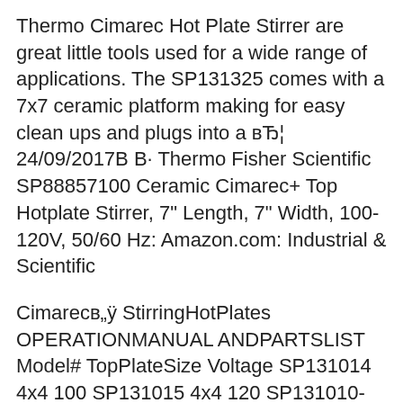Thermo Cimarec Hot Plate Stirrer are great little tools used for a wide range of applications. The SP131325 comes with a 7x7 ceramic platform making for easy clean ups and plugs into a вЂ¦ 24/09/2017В В· Thermo Fisher Scientific SP88857100 Ceramic Cimarec+ Top Hotplate Stirrer, 7" Length, 7" Width, 100-120V, 50/60 Hz: Amazon.com: Industrial & Scientific
Cimarecв„ÿ StirringHotPlates OPERATIONMANUAL ANDPARTSLIST Model# TopPlateSize Voltage SP131014 4x4 100 SP131015 4x4 120 SP131010-33 4x4 220-240 SP131324 7x7 100 SP131325 7x7 120 Dependable Performance. Unmatched Safety.